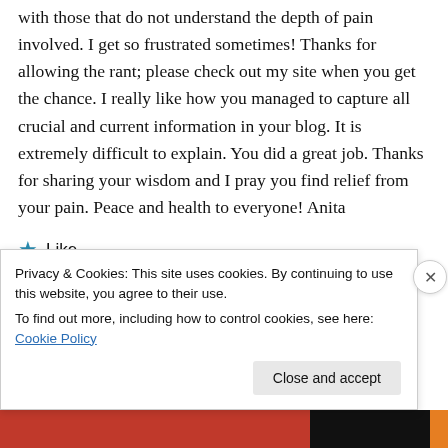with those that do not understand the depth of pain involved. I get so frustrated sometimes! Thanks for allowing the rant; please check out my site when you get the chance. I really like how you managed to capture all crucial and current information in your blog. It is extremely difficult to explain. You did a great job. Thanks for sharing your wisdom and I pray you find relief from your pain. Peace and health to everyone! Anita
★ Like
Privacy & Cookies: This site uses cookies. By continuing to use this website, you agree to their use.
To find out more, including how to control cookies, see here: Cookie Policy
Close and accept